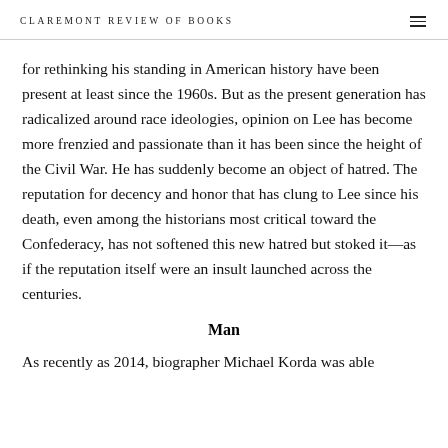CLAREMONT REVIEW OF BOOKS
for rethinking his standing in American history have been present at least since the 1960s. But as the present generation has radicalized around race ideologies, opinion on Lee has become more frenzied and passionate than it has been since the height of the Civil War. He has suddenly become an object of hatred. The reputation for decency and honor that has clung to Lee since his death, even among the historians most critical toward the Confederacy, has not softened this new hatred but stoked it—as if the reputation itself were an insult launched across the centuries.
Man
As recently as 2014, biographer Michael Korda was able